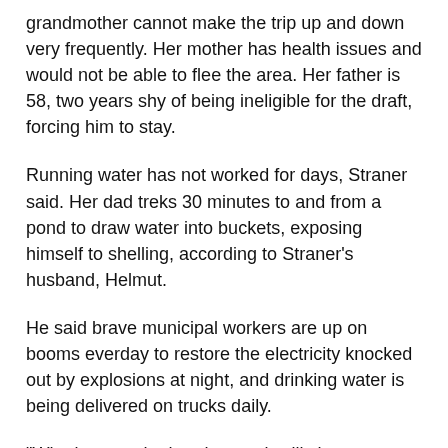grandmother cannot make the trip up and down very frequently. Her mother has health issues and would not be able to flee the area. Her father is 58, two years shy of being ineligible for the draft, forcing him to stay.
Running water has not worked for days, Straner said. Her dad treks 30 minutes to and from a pond to draw water into buckets, exposing himself to shelling, according to Straner’s husband, Helmut.
He said brave municipal workers are up on booms everday to restore the electricity knocked out by explosions at night, and drinking water is being delivered on trucks daily.
“Who knows whether that truck will show up tomorrow?” Helmut said.